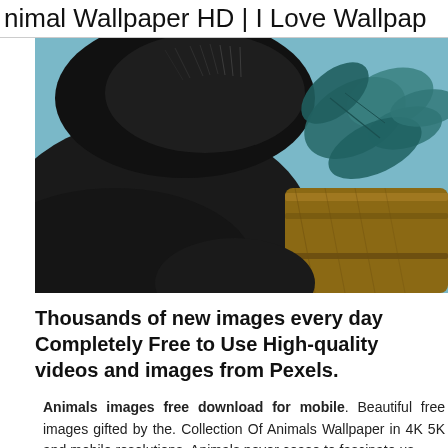Animal Wallpaper HD | I Love Wallpap…
[Figure (photo): Close-up photo of a dark-furred animal (likely a black panther or bear) resting on a wooden log, with teal-colored leaves in the background and a blurred blue sky.]
Thousands of new images every day Completely Free to Use High-quality videos and images from Pexels.
Animals images free download for mobile. Beautiful free images gifted by the. Collection Of Animals Wallpaper in 4K 5K and mobile resolutions. Animals never cease to fascinate us.
Free Download Animals Wallpapers. Photo stock Free images of any animals. Published animal…